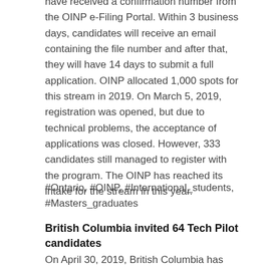have received a confirmation number from the OINP e-Filing Portal. Within 3 business days, candidates will receive an email containing the file number and after that, they will have 14 days to submit a full application. OINP allocated 1,000 spots for this stream in 2019. On March 5, 2019, registration was opened, but due to technical problems, the acceptance of applications was closed. However, 333 candidates still managed to register with the program. The OINP has reached its intake for the stream in this year.
#Ontario, #OINP, #International_students, #Masters_graduates
British Columbia invited 64 Tech Pilot candidates
On April 30, 2019, British Columbia has issued